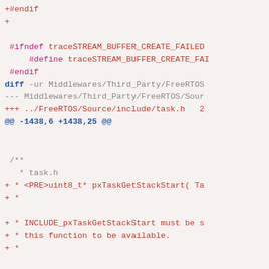[Figure (screenshot): A code diff view showing changes to FreeRTOS source files. Lines show additions (+) in red/pink for preprocessor macros (#ifndef, #define, #endif), diff headers for Middlewares/Third_Party/FreeRTOS paths, hunk header @@ -1438,6 +1438,25 @@, and comment block additions for task.h including pxTaskGetStackStart function documentation.]